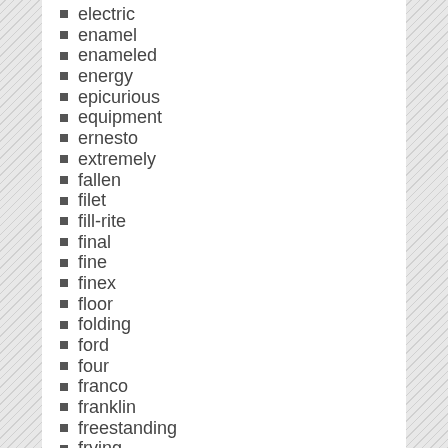electric
enamel
enameled
energy
epicurious
equipment
ernesto
extremely
fallen
filet
fill-rite
final
fine
finex
floor
folding
ford
four
franco
franklin
freestanding
frying